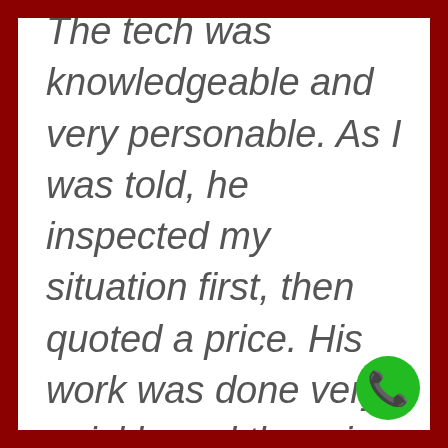The tech was knowledgeable and very personable. As I was told, he inspected my situation first, then quoted a price. His work was done very quickly and the price did not change.